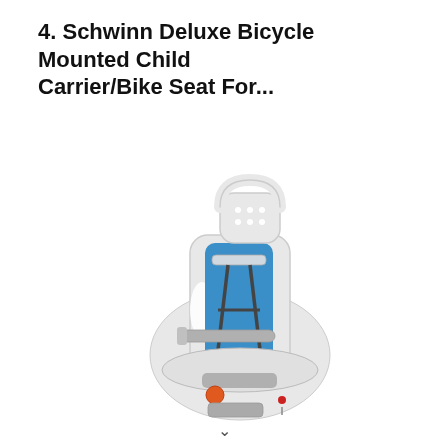4. Schwinn Deluxe Bicycle Mounted Child Carrier/Bike Seat For...
[Figure (photo): A Schwinn Deluxe rear bicycle-mounted child carrier/bike seat with a white plastic shell, blue padded backrest with harness straps, gray armrest bar, orange quick-release button at the bottom, and a perforated headrest handle at the top.]
v